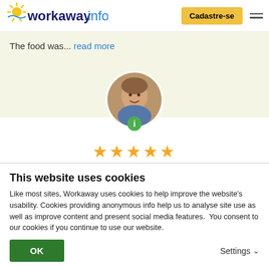workaway.info | Cadastre-se
The food was... read more
[Figure (photo): Circular profile photo of a man smiling, with a green info badge below]
★★★★★ (Excelente )
15/01/2017
Feito pelo anfitrião para o Workawayer (Matthew)
Matt is the last "dream team" member we now finally find some time to write the feedback. He was, till now, our
This website uses cookies
Like most sites, Workaway uses cookies to help improve the website's usability. Cookies providing anonymous info help us to analyse site use as well as improve content and present social media features.  You consent to our cookies if you continue to use our website.
OK | Settings